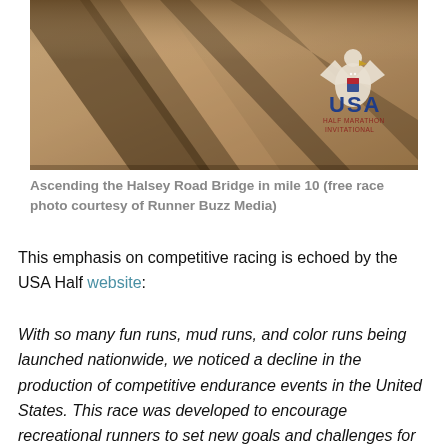[Figure (photo): Aerial or close-up photo of a road surface or bridge with diagonal lane markings/lines, warm brown/tan tones. USA Half Marathon Invitational logo with eagle emblem in lower right corner.]
Ascending the Halsey Road Bridge in mile 10 (free race photo courtesy of Runner Buzz Media)
This emphasis on competitive racing is echoed by the USA Half website:
With so many fun runs, mud runs, and color runs being launched nationwide, we noticed a decline in the production of competitive endurance events in the United States.  This race was developed to encourage recreational runners to set new goals and challenges for